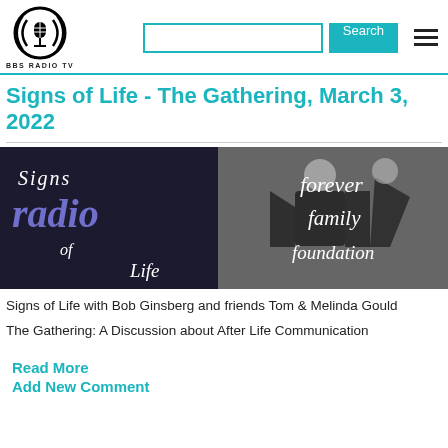BBS RADIO TV
Signs of Life - The Gathering, March 3, 2022
[Figure (illustration): Banner image showing 'Signs radio of Life' logo on dark purple/navy background on the left, and 'Forever Family Foundation' logo with silhouette figures on grey background on the right.]
Signs of Life with Bob Ginsberg and friends Tom & Melinda Gould
The Gathering: A Discussion about After Life Communication
Read More
Add New Comment